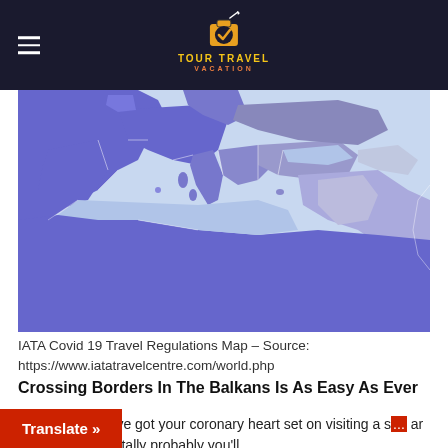TOUR TRAVEL VACATION
[Figure (map): IATA Covid 19 Travel Regulations Map showing Europe, Middle East, and North Africa region with countries shaded in blue and light purple/lavender tones.]
IATA Covid 19 Travel Regulations Map – Source: https://www.iatatravelcentre.com/world.php
Crossing Borders In The Balkans Is As Easy As Ever
Even when you've got your coronary heart set on visiting a s... ar to Croatia, it is vitally probably you'll